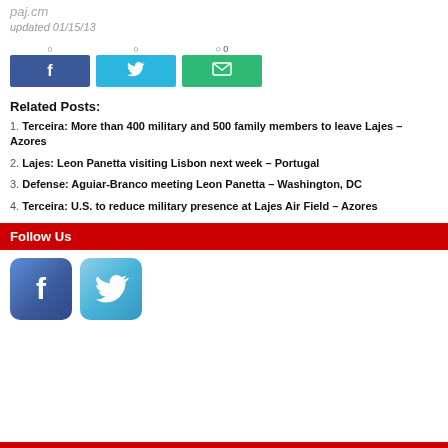paj.cm
updated 01/15/13
[Figure (infographic): Social share buttons: Facebook (dark blue), Twitter (light blue), Email (green)]
Related Posts:
1. Terceira: More than 400 military and 500 family members to leave Lajes – Azores
2. Lajes: Leon Panetta visiting Lisbon next week – Portugal
3. Defense: Aguiar-Branco meeting Leon Panetta – Washington, DC
4. Terceira: U.S. to reduce military presence at Lajes Air Field – Azores
Follow Us
[Figure (logo): Facebook and Twitter social media icon buttons]